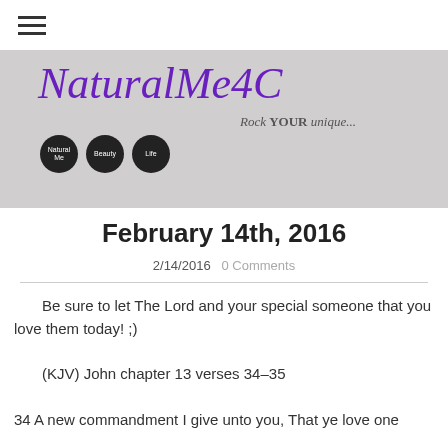[Figure (logo): NaturalMe4C logo with tagline 'Rock YOUR unique...' and three dark circle nav buttons]
February 14th, 2016
2/14/2016   0 Comments
Be sure to let The Lord and your special someone that you love them today! ;)
(KJV) John chapter 13 verses 34-35
34 A new commandment I give unto you, That ye love one another...